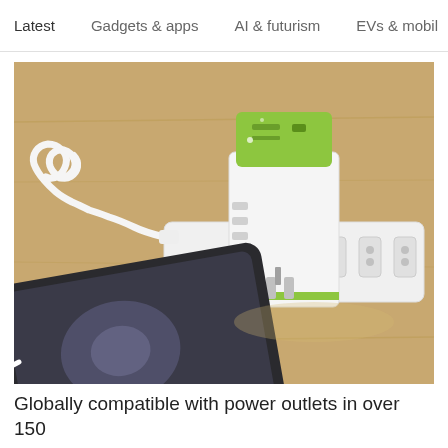Latest   Gadgets & apps   AI & futurism   EVs & mobil  >
[Figure (photo): A universal travel adapter with green top and white body, featuring multiple USB ports and plug types, connected via a white coiled cable to a tablet (iPad) on a wooden surface. The adapter sits on a white power strip.]
Globally compatible with power outlets in over 150